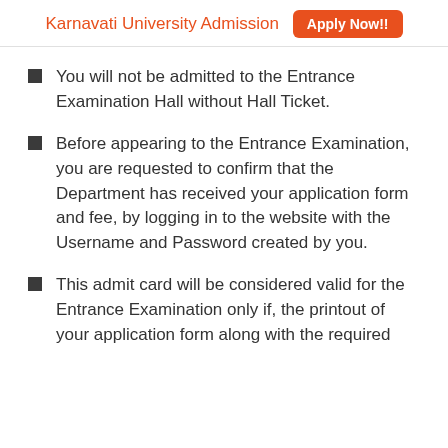Karnavati University Admission  Apply Now!!
You will not be admitted to the Entrance Examination Hall without Hall Ticket.
Before appearing to the Entrance Examination, you are requested to confirm that the Department has received your application form and fee, by logging in to the website with the Username and Password created by you.
This admit card will be considered valid for the Entrance Examination only if, the printout of your application form along with the required